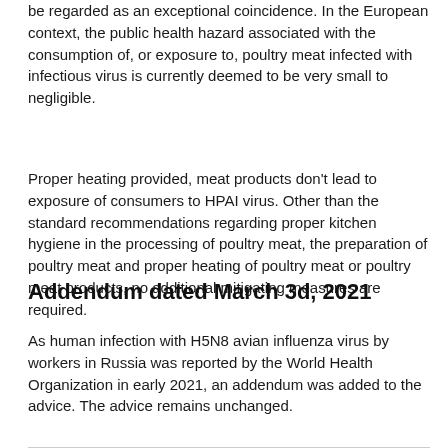be regarded as an exceptional coincidence. In the European context, the public health hazard associated with the consumption of, or exposure to, poultry meat infected with infectious virus is currently deemed to be very small to negligible.
Proper heating provided, meat products don't lead to exposure of consumers to HPAI virus. Other than the standard recommendations regarding proper kitchen hygiene in the processing of poultry meat, the preparation of poultry meat and proper heating of poultry meat or poultry meat products, no additional mitigating measures are required.
Addendum dated March 3d, 2021
As human infection with H5N8 avian influenza virus by workers in Russia was reported by the World Health Organization in early 2021, an addendum was added to the advice. The advice remains unchanged.